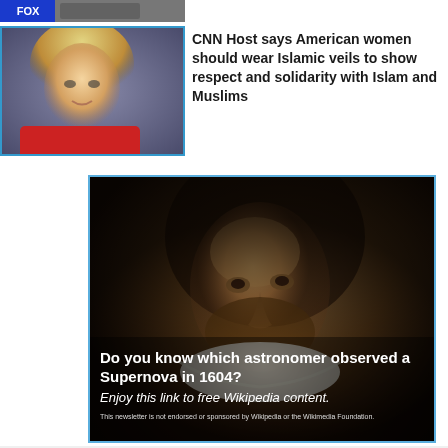[Figure (screenshot): Partial FOX news screenshot at top of page, cropped]
[Figure (screenshot): CNN broadcast screenshot showing blonde woman in red top]
CNN Host says American women should wear Islamic veils to show respect and solidarity with Islam and Muslims
[Figure (illustration): Wikipedia advertisement showing portrait painting of a bearded Renaissance-era man (Johannes Kepler). Text overlay asks 'Do you know which astronomer observed a Supernova in 1604?' with italic text 'Enjoy this link to free Wikipedia content.' and disclaimer 'This newsletter is not endorsed or sponsored by Wikipedia or the Wikimedia Foundation.']
Do you know which astronomer observed a Supernova in 1604?
Enjoy this link to free Wikipedia content.
This newsletter is not endorsed or sponsored by Wikipedia or the Wikimedia Foundation.